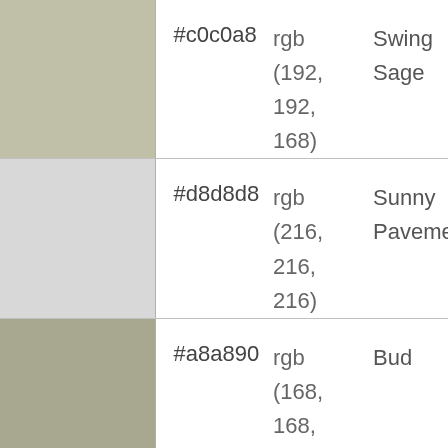| Swatch | Hex | RGB | Name |
| --- | --- | --- | --- |
|  | #c0c0a8 | rgb (192, 192, 168) | Swing Sage |
|  | #d8d8d8 | rgb (216, 216, 216) | Sunny Pavement |
|  | #a8a890 | rgb (168, 168, 144) | Bud |